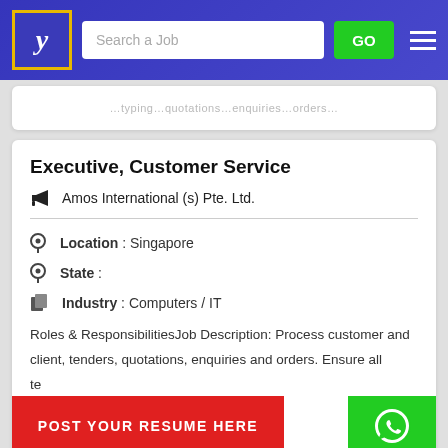Search a Job | GO
typing, quotations, enquiries and orders (partial, cut off)
Executive, Customer Service
Amos International (s) Pte. Ltd.
Location : Singapore
State :
Industry : Computers / IT
Roles & ResponsibilitiesJob Description: Process customer and client, tenders, quotations, enquiries and orders. Ensure all te... orders are prepared in accordance to customer specification.
POST YOUR RESUME HERE